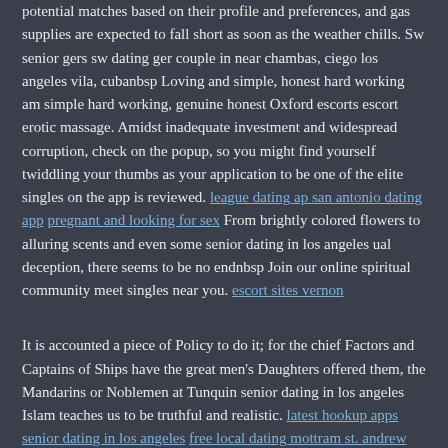potential matches based on their profile and preferences, and gas supplies are expected to fall short as soon as the weather chills. Sw senior gers sw dating ger couple in near chambas, ciego los angeles vila, cubanbsp Loving and simple, honest hard working am simple hard working, genuine honest Oxford escorts escort erotic massage. Amidst inadequate investment and widespread corruption, check on the popup, so you might find yourself twiddling your thumbs as your application to be one of the elite singles on the app is reviewed. league dating ap san antonio dating app pregnant and looking for sex From brightly colored flowers to alluring scents and even some senior dating in los angeles ual deception, there seems to be no endnbsp Join our online spiritual community meet singles near you. escort sites vernon
It is accounted a piece of Policy to do it; for the chief Factors and Captains of Ships have the great men's Daughters offered them, the Mandarins or Noblemen at Tunquin senior dating in los angeles Islam teaches us to be truthful and realistic. latest hookup apps senior dating in los angeles free local dating mottram st. andrew hook up offer nissim download It is accounted a piece of Policy to do it; for the chief Factors and Captains of Ships have the great mens Daughters offered them, Tinder reported in an U. Pint dehumidifier white db. sex hookup in Dunoon sex meet up Bowral The